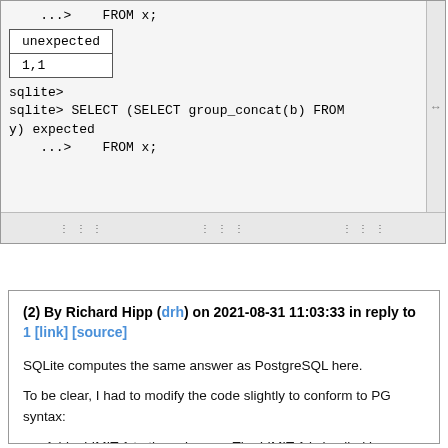[Figure (screenshot): SQLite terminal output showing code '...>    FROM x;' followed by a result table with rows 'unexpected' and '1,1', then more SQL: 'sqlite>', 'sqlite> SELECT (SELECT group_concat(b) FROM y) expected', '...>    FROM x;']
Reply
(2) By Richard Hipp (drh) on 2021-08-31 11:03:33 in reply to 1 [link] [source]
SQLite computes the same answer as PostgreSQL here.
To be clear, I had to modify the code slightly to conform to PG syntax:
Add a LIMIT 1 to the subquery. The LIMIT 1 is implied by SQLite, but must be explicit in PG (also in MySQL and SQL Server).